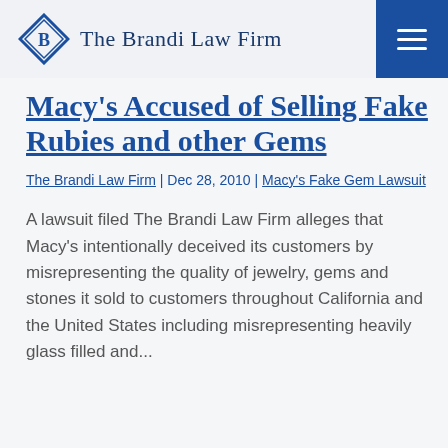The Brandi Law Firm
Macy's Accused of Selling Fake Rubies and other Gems
The Brandi Law Firm | Dec 28, 2010 | Macy's Fake Gem Lawsuit
A lawsuit filed The Brandi Law Firm alleges that Macy's intentionally deceived its customers by misrepresenting the quality of jewelry, gems and stones it sold to customers throughout California and the United States including misrepresenting heavily glass filled and...